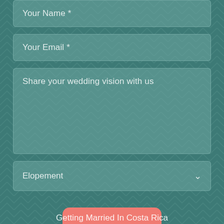[Figure (other): Teal/green background with chevron herringbone pattern]
Your Name *
Your Email *
Share your wedding vision with us
Elopement
SUBMIT
Getting Married In Costa Rica